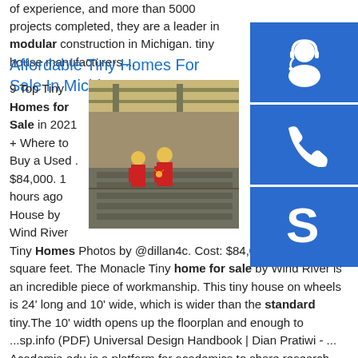of experience, and more than 5000 projects completed, they are a leader in modular construction in Michigan. tiny house manufacturers ...
Affordable Tiny Homes For Sale In Michi
9 Top Tiny Homes for Sale in 2021 + Where to Buy a Used . $84,000. 1 hours ago House by Wind River Tiny Homes Photos by @dillan4c. Cost: $84,000. Size: 240 square feet. The Monacle Tiny home for sale by Wind River is an incredible piece of workmanship. This tiny house on wheels is 24' long and 10' wide, which is wider than the standard tiny.The 10' width opens up the floorplan and enough to ...sp.info (PDF) Universal Design Handbook | Dian Pratiwi - ... Academia.edu is a platform for academics to share research papers.Author: Dian PratiwiEstimated Reading Time: 4 minutes | Rana Building Manual PDF | PDFi
[Figure (photo): Workers in red uniforms and yellow hard hats working on steel structures inside an industrial/factory building with overhead cranes visible.]
[Figure (illustration): Sidebar with three blue buttons: a customer support/headset icon, a phone icon, and a Skype icon.]